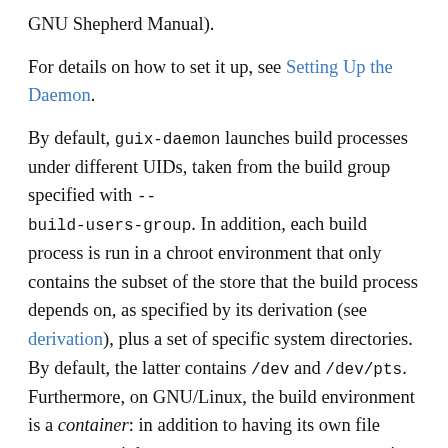GNU Shepherd Manual).
For details on how to set it up, see Setting Up the Daemon.
By default, guix-daemon launches build processes under different UIDs, taken from the build group specified with --build-users-group. In addition, each build process is run in a chroot environment that only contains the subset of the store that the build process depends on, as specified by its derivation (see derivation), plus a set of specific system directories. By default, the latter contains /dev and /dev/pts. Furthermore, on GNU/Linux, the build environment is a container: in addition to having its own file system tree, it has a separate mount name space, its own PID name space, network name space, etc. This helps achieve reproducible builds (see Features).
When the daemon performs a build on behalf of the user, it creates a build directory under /tmp or under the directory specified by its TMPDIR environment variable. This directory is shared with the container for the duration of the build, though